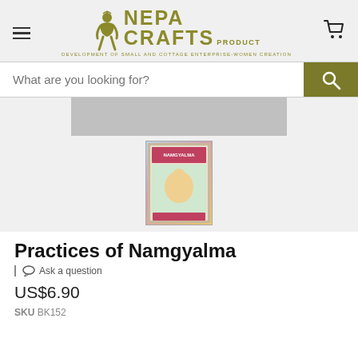[Figure (logo): Nepa Crafts Product logo with seated figure, text NEPA CRAFTS PRODUCT and tagline DEVELOPMENT OF SMALL AND COTTAGE ENTERPRISE-WOMEN CREATION]
What are you looking for?
[Figure (photo): Thumbnail image of the book Practices of Namgyalma with colorful Tibetan artwork on cover]
Practices of Namgyalma
Ask a question
US$6.90
SKU BK152